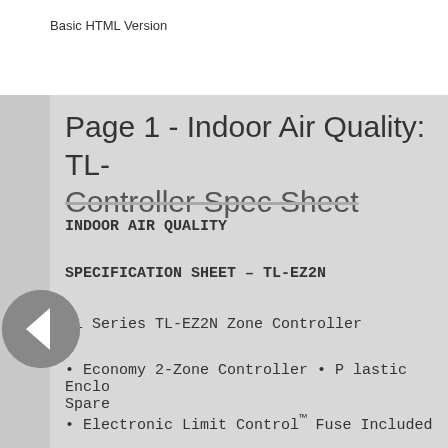Basic HTML Version
Page 1 - Indoor Air Quality: TL- Controller Spec Sheet
INDOOR AIR QUALITY
SPECIFICATION SHEET – TL-EZ2N
TL Series TL-EZ2N Zone Controller
• Economy 2-Zone Controller • P lastic Enclo Spare
• Electronic Limit Control™ Fuse Included